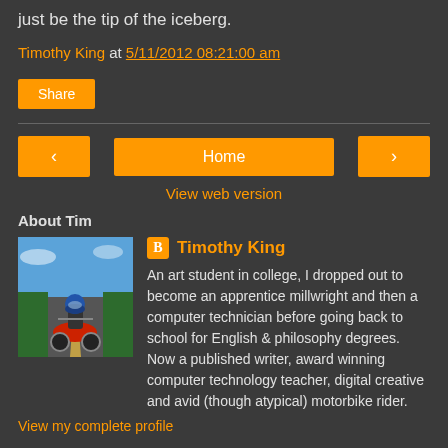just be the tip of the iceberg.
Timothy King at 5/11/2012 08:21:00 am
Share
< Home >
View web version
About Tim
[Figure (photo): Profile photo of Timothy King on a motorbike on a road]
Timothy King
An art student in college, I dropped out to become an apprentice millwright and then a computer technician before going back to school for English & philosophy degrees. Now a published writer, award winning computer technology teacher, digital creative and avid (though atypical) motorbike rider.
View my complete profile